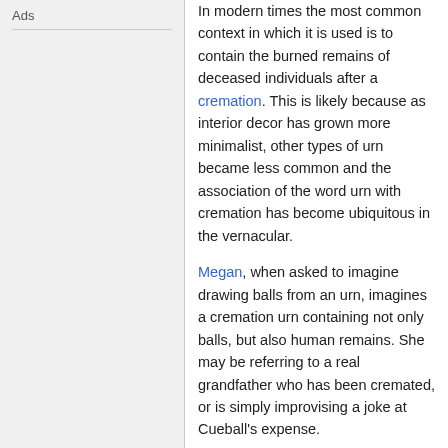Ads
In modern times the most common context in which it is used is to contain the burned remains of deceased individuals after a cremation. This is likely because as interior decor has grown more minimalist, other types of urn became less common and the association of the word urn with cremation has become ubiquitous in the vernacular.

Megan, when asked to imagine drawing balls from an urn, imagines a cremation urn containing not only balls, but also human remains. She may be referring to a real grandfather who has been cremated, or is simply improvising a joke at Cueball's expense.

The title text refers to two distinct